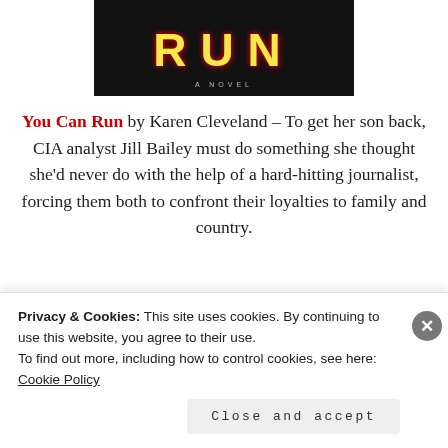[Figure (illustration): Book cover for 'You Can Run – A Novel' showing dark background with large yellow letters 'RUN' and subtitle 'A NOVEL']
You Can Run by Karen Cleveland – To get her son back, CIA analyst Jill Bailey must do something she thought she'd never do with the help of a hard-hitting journalist, forcing them both to confront their loyalties to family and country.
[Figure (photo): Partial image of a cookbook or magazine with food photos visible]
Privacy & Cookies: This site uses cookies. By continuing to use this website, you agree to their use.
To find out more, including how to control cookies, see here: Cookie Policy
Close and accept